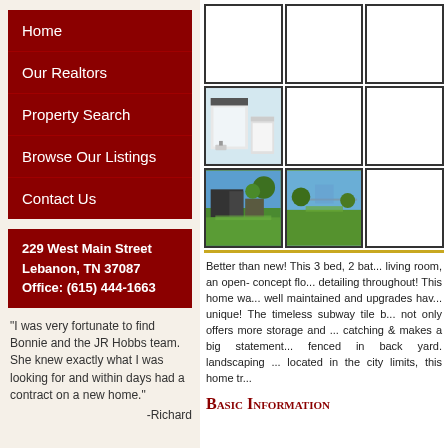Home
Our Realtors
Property Search
Browse Our Listings
Contact Us
229 West Main Street
Lebanon, TN 37087
Office: (615) 444-1663
"I was very fortunate to find Bonnie and the JR Hobbs team. She knew exactly what I was looking for and within days had a contract on a new home."
-Richard
[Figure (photo): Photo grid with 9 cells: top row empty placeholders, middle row has bathroom photo and empty placeholders, bottom row has two yard/lawn photos and empty placeholder]
Better than new! This 3 bed, 2 bat... living room, an open- concept flo... detailing throughout! This home wa... well maintained and upgrades hav... unique! The timeless subway tile b... not only offers more storage and ... catching & makes a big statement... fenced in back yard. landscaping ... located in the city limits, this home tr...
Basic Information